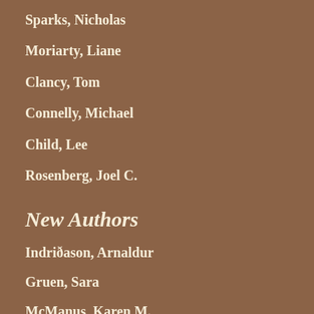Sparks, Nicholas
Moriarty, Liane
Clancy, Tom
Connelly, Michael
Child, Lee
Rosenberg, Joel C.
New Authors
Indriðason, Arnaldur
Gruen, Sara
McManus, Karen M.
Carroll, Gordon
Valpy, Fiona
Carter, Andrea